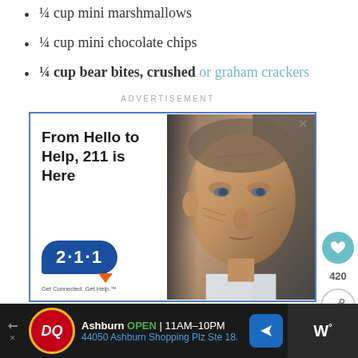¼ cup mini marshmallows
¼ cup mini chocolate chips
¼ cup bear bites, crushed or graham crackers
ADVERTISEMENT
[Figure (photo): Advertisement for 211 helpline showing an elderly man's face and the text 'From Hello to Help, 211 is Here' with 211 logo and 'Get Connected. Get Help.' tagline]
Ashburn OPEN 11AM-10PM 44050 Ashburn Shopping Plz Ste 18.